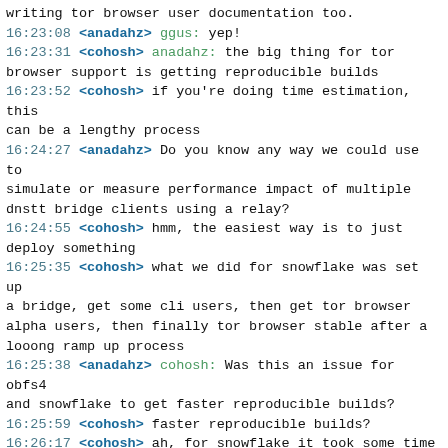writing tor browser user documentation too.
16:23:08 <anadahz> ggus: yep!
16:23:31 <cohosh> anadahz: the big thing for tor browser support is getting reproducible builds
16:23:52 <cohosh> if you're doing time estimation, this can be a lengthy process
16:24:27 <anadahz> Do you know any way we could use to simulate or measure performance impact of multiple dnstt bridge clients using a relay?
16:24:55 <cohosh> hmm, the easiest way is to just deploy something
16:25:35 <cohosh> what we did for snowflake was set up a bridge, get some cli users, then get tor browser alpha users, then finally tor browser stable after a looong ramp up process
16:25:38 <anadahz> cohosh: Was this an issue for obfs4 and snowflake to get faster reproducible builds?
16:25:59 <cohosh> faster reproducible builds?
16:26:17 <cohosh> ah, for snowflake it took some time because of the number of libraries involved
16:26:37 <cohosh> i am not sure about obfs4 since that was set up for reproducible builds before my time
16:27:02 <cohosh> also for snowflake we had issues with building some of the libraries and had to switch which ones we used
16:27:29 <cohosh> i suspiect dnstt won't have that particular issue
16:27:41 <anadahz> That's really useful to know the process with snowflake.
16:27:53 <shelikhoo> I think this process will be